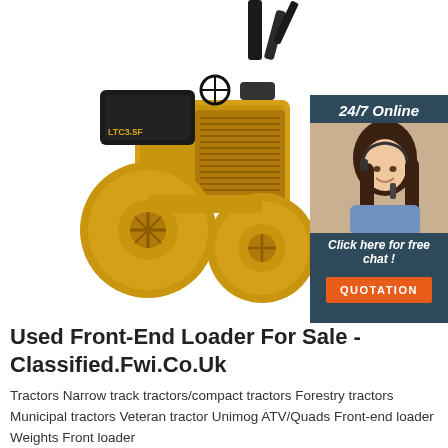[Figure (photo): Yellow road roller / compactor machine (LTC3.5F) on white background, with additional machinery arm visible at top right]
[Figure (infographic): Advertisement banner with dark blue background showing '24/7 Online' header, a customer service woman with headset, 'Click here for free chat!' text, and an orange 'QUOTATION' button]
Used Front-End Loader For Sale - Classified.Fwi.Co.Uk
Tractors Narrow track tractors/compact tractors Forestry tractors Municipal tractors Veteran tractor Unimog ATV/Quads Front-end loader Weights Front loader